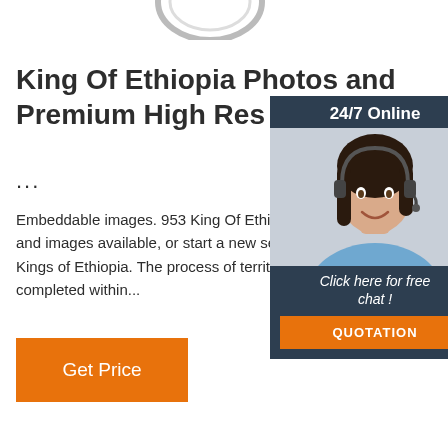[Figure (illustration): Partial view of a ring/jewelry item at the top of the page, partially cropped]
King Of Ethiopia Photos and Premium High Res Pictu...
...
Embeddable images. 953 King Of Ethiopia Premium High Res Photos. Browse 953 king of ethiopia stock photos and images available, or start a new search to explore more stock photos and images. Emperor Menelik II, King of Kings of Ethiopia. The process of territorial expansion and creation of the modern empire-state were largely completed within...
[Figure (photo): Chat widget overlay showing a woman with a headset, dark blue background with '24/7 Online' header, 'Click here for free chat!' text, and an orange QUOTATION button]
Get Price